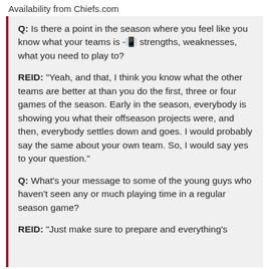Availability from Chiefs.com
Q: Is there a point in the season where you feel like you know what your teams is -🏈 strengths, weaknesses, what you need to play to?
REID: "Yeah, and that, I think you know what the other teams are better at than you do the first, three or four games of the season. Early in the season, everybody is showing you what their offseason projects were, and then, everybody settles down and goes. I would probably say the same about your own team. So, I would say yes to your question."
Q: What's your message to some of the young guys who haven't seen any or much playing time in a regular season game?
REID: "Just make sure to prepare and everything's...